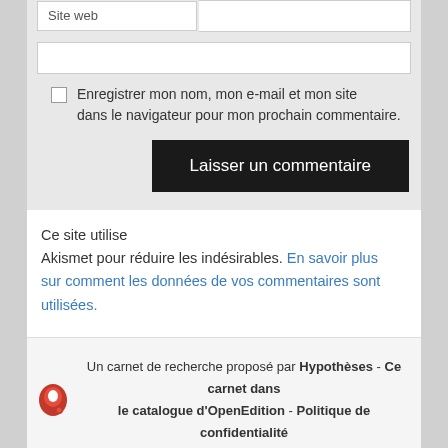[Figure (screenshot): Web form with Site web input field, full-width input box, checkbox for saving browser info, and Laisser un commentaire button]
Ce site utilise Akismet pour réduire les indésirables. En savoir plus sur comment les données de vos commentaires sont utilisées.
Un carnet de recherche proposé par Hypothèses - Ce carnet dans le catalogue d'OpenEdition - Politique de confidentialité Flux de syndication - Crédits - ISSN 2266-0615 Fièrement propulsé par WordPress